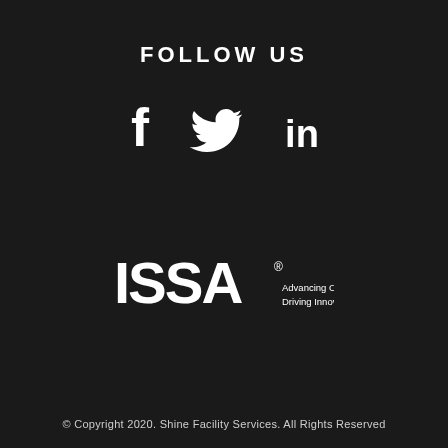FOLLOW US
[Figure (illustration): Social media icons: Facebook (f), Twitter (bird), LinkedIn (in)]
[Figure (logo): ISSA logo with text: Advancing Clean. Driving Innovation.]
© Copyright 2020. Shine Facility Services. All Rights Reserved